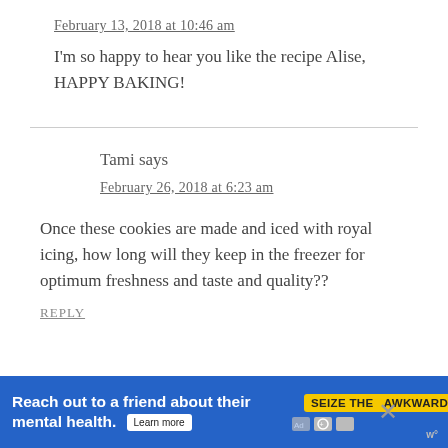February 13, 2018 at 10:46 am
I'm so happy to hear you like the recipe Alise, HAPPY BAKING!
Tami says
February 26, 2018 at 6:23 am
Once these cookies are made and iced with royal icing, how long will they keep in the freezer for optimum freshness and taste and quality??
REPLY
[Figure (other): Advertisement banner: 'Reach out to a friend about their mental health. Learn more' with SEIZE THE AWKWARD badge and ad network icons]